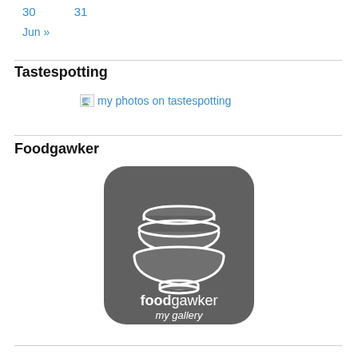30  31
Jun »
Tastespotting
[Figure (other): Broken image placeholder with link text 'my photos on tastespotting']
Foodgawker
[Figure (logo): Foodgawker logo: dark grey rounded square with three stacked white bowls illustration and text 'foodgawker my gallery']